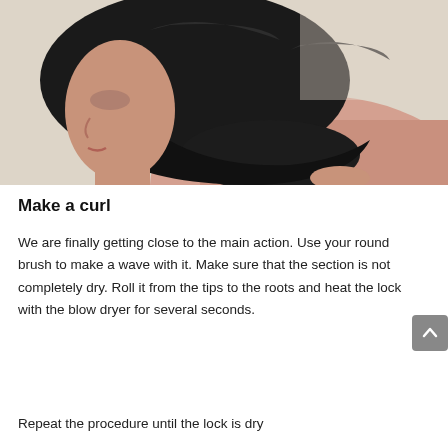[Figure (photo): Side profile of a woman with short dark wavy bob haircut against a light beige background]
Make a curl
We are finally getting close to the main action. Use your round brush to make a wave with it. Make sure that the section is not completely dry. Roll it from the tips to the roots and heat the lock with the blow dryer for several seconds.
Repeat the procedure until the lock is dry